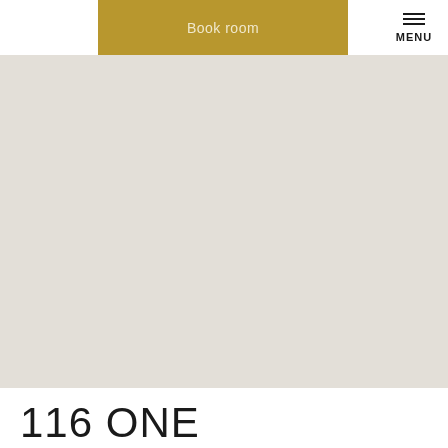Book room | MENU
[Figure (photo): Large light grey/beige placeholder hero image area for a hotel room]
116 ONE BEDROOM